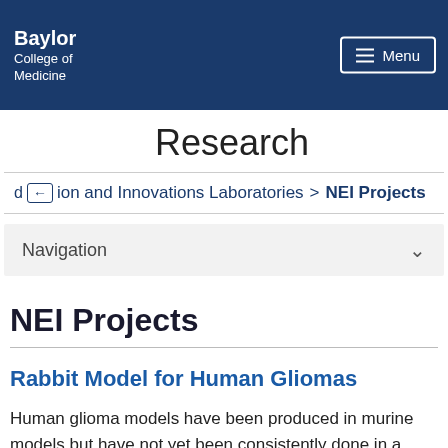Baylor College of Medicine
Research
d ← ion and Innovations Laboratories > NEI Projects
Navigation
NEI Projects
Rabbit Model for Human Gliomas
Human glioma models have been produced in murine models but have not yet been consistently done in a larger animal model. The